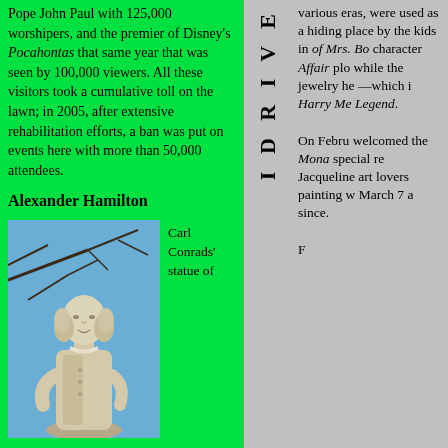Pope John Paul with 125,000 worshipers, and the premier of Disney's Pocahontas that same year that was seen by 100,000 viewers. All these visitors took a cumulative toll on the lawn; in 2005, after extensive rehabilitation efforts, a ban was put on events here with more than 50,000 attendees.
Alexander Hamilton
Carl Conrads' statue of
[Figure (photo): A stone statue of Alexander Hamilton against a blue sky with bare tree branches]
I D R I V E
various eras, were used as a hiding place by the kids in of Mrs. Bo character Affair plo while the jewelry he —which i Harry Me Legend.

On Febru welcomed the Mona special re Jacqueline art lovers painting w March 7 a since.

F